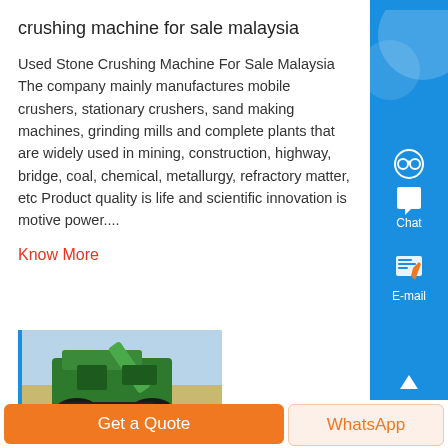crushing machine for sale malaysia
Used Stone Crushing Machine For Sale Malaysia The company mainly manufactures mobile crushers, stationary crushers, sand making machines, grinding mills and complete plants that are widely used in mining, construction, highway, bridge, coal, chemical, metallurgy, refractory matter, etc Product quality is life and scientific innovation is motive power....
Know More
[Figure (photo): Green ZENIT crushing machine on gravel ground with sky background]
Get a Quote
WhatsApp